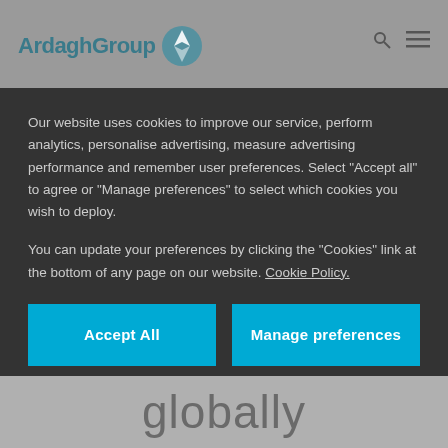[Figure (logo): Ardagh Group logo with blue compass-style icon]
Our website uses cookies to improve our service, perform analytics, personalise advertising, measure advertising performance and remember user preferences. Select "Accept all" to agree or "Manage preferences" to select which cookies you wish to deploy.
You can update your preferences by clicking the "Cookies" link at the bottom of any page on our website. Cookie Policy.
Accept All
Manage preferences
globally